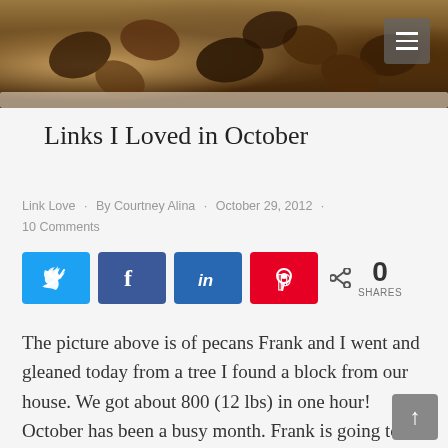[Figure (photo): Close-up photograph of pecans in a white bowl or cloth, seen from above, in warm brown tones.]
Links I Loved in October
Link Love · By Courtney Alina · October 29, 2012 · 10 Comments
[Figure (infographic): Social share buttons: Twitter (blue), Facebook (blue), LinkedIn (dark blue), Pinterest (red), and a share count showing 0 SHARES.]
The picture above is of pecans Frank and I went and gleaned today from a tree I found a block from our house. We got about 800 (12 lbs) in one hour! October has been a busy month. Frank is going to school full time taking organic chemistry and biology classes,